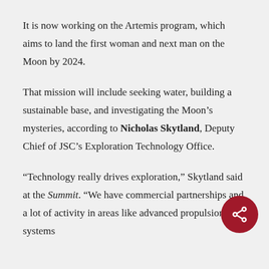It is now working on the Artemis program, which aims to land the first woman and next man on the Moon by 2024.
That mission will include seeking water, building a sustainable base, and investigating the Moon's mysteries, according to Nicholas Skytland, Deputy Chief of JSC's Exploration Technology Office.
“Technology really drives exploration,” Skytland said at the Summit. “We have commercial partnerships and a lot of activity in areas like advanced propulsion systems